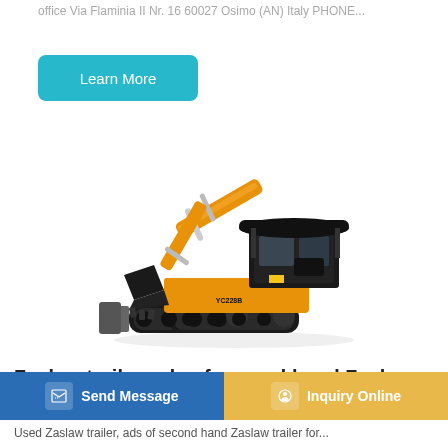office Via Flaminia II Nr. 16 60027 Osimo (AN) Italy PHONE...
Learn More
[Figure (photo): A yellow mini excavator (YC228B) with black canopy, boom arm extended with bucket, and rubber tracks, on white background]
Zaslaw trailer, ads of second hand Zaslaw trailers
Send Message
Inquiry Online
Used Zaslaw trailer, ads of second hand Zaslaw trailer for...